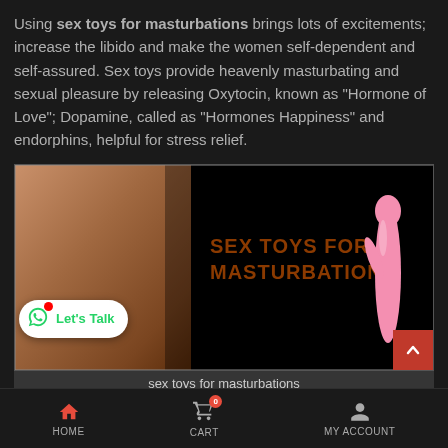Using sex toys for masturbations brings lots of excitements; increase the libido and make the women self-dependent and self-assured. Sex toys provide heavenly masturbating and sexual pleasure by releasing Oxytocin, known as “Hormone of Love”; Dopamine, called as “Hormones Happiness” and endorphins, helpful for stress relief.
[Figure (photo): Promotional banner image showing a woman's torso on the left side and on the right side text 'SEX TOYS FOR MASTURBATIONS' with a pink vibrator toy against a black background. A 'Let's Talk' WhatsApp button overlay is at the bottom left and a red scroll-up arrow at bottom right.]
sex toys for masturbations
HOME   CART 0   MY ACCOUNT